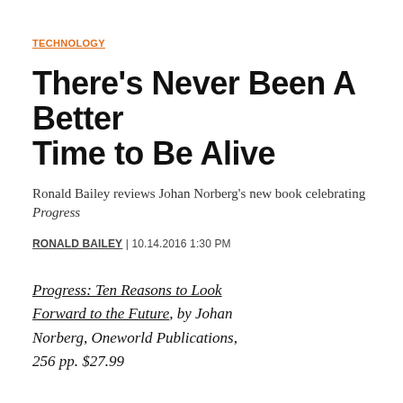TECHNOLOGY
There's Never Been A Better Time to Be Alive
Ronald Bailey reviews Johan Norberg's new book celebrating Progress
RONALD BAILEY | 10.14.2016 1:30 PM
Progress: Ten Reasons to Look Forward to the Future, by Johan Norberg, Oneworld Publications, 256 pp. $27.99